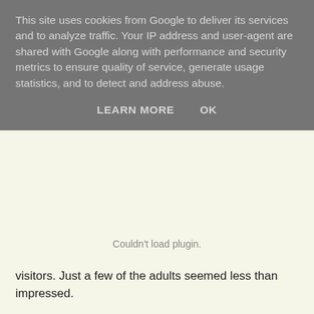This site uses cookies from Google to deliver its services and to analyze traffic. Your IP address and user-agent are shared with Google along with performance and security metrics to ensure quality of service, generate usage statistics, and to detect and address abuse.
LEARN MORE    OK
visitors. Just a few of the adults seemed less than impressed.
Couldn't load plugin.